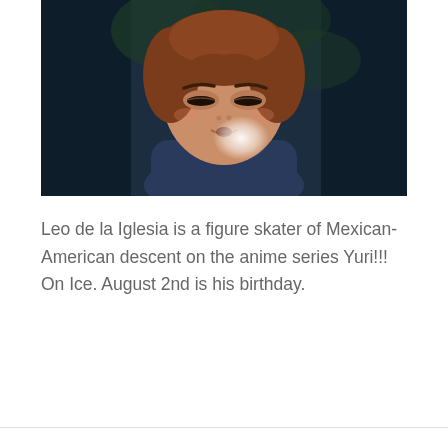[Figure (illustration): Anime character screenshot showing a brown-haired male figure skater with a worried/tired expression, wearing a dark blue hoodie, against a dark teal/navy background. There is a glowing white light near his mouth/chin area.]
Leo de la Iglesia is a figure skater of Mexican-American descent on the anime series Yuri!!! On Ice. August 2nd is his birthday.